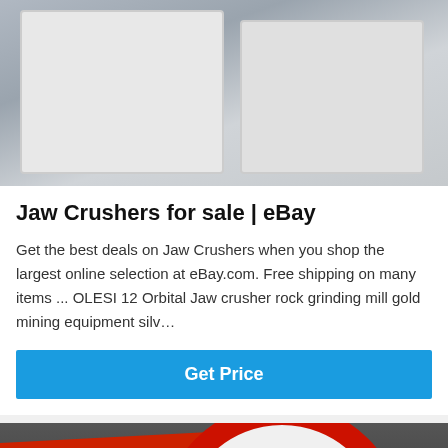[Figure (photo): White jaw crusher machinery in a factory/warehouse setting, showing two large white industrial crushing machines side by side on a concrete floor.]
Jaw Crushers for sale | eBay
Get the best deals on Jaw Crushers when you shop the largest online selection at eBay.com. Free shipping on many items ... OLESI 12 Orbital Jaw crusher rock grinding mill gold mining equipment silv…
[Figure (illustration): Get Price blue button]
[Figure (photo): Industrial factory interior showing red overhead crane beams and a large red and white flywheel/gear of a jaw crusher. Bottom overlay shows Leave Message and Chat Online buttons with a customer service representative avatar.]
Leave Message
Chat Online